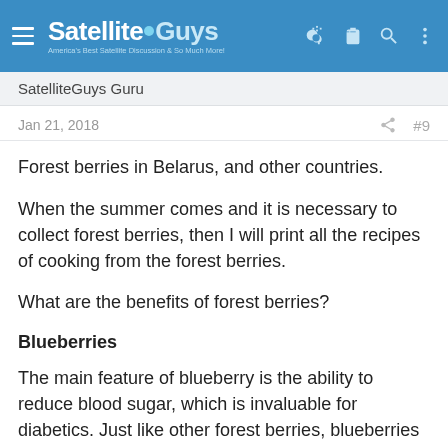SatelliteGuys — America's Best Satellite Discussion & So Much More
SatelliteGuys Guru
Jan 21, 2018   #9
Forest berries in Belarus, and other countries.
When the summer comes and it is necessary to collect forest berries, then I will print all the recipes of cooking from the forest berries.
What are the benefits of forest berries?
Blueberries
The main feature of blueberry is the ability to reduce blood sugar, which is invaluable for diabetics. Just like other forest berries, blueberries fight against stomach problems well. And still cures tonsillitis,